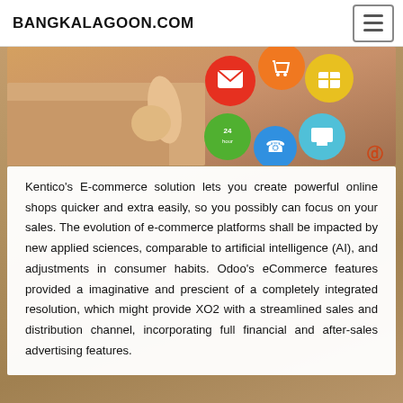BANGKALAGOON.COM
[Figure (photo): E-commerce concept photo showing a hand pointing at colorful app icons including a shopping cart, telephone, gift box, clock showing 24 hours, and a computer monitor on a blurred background.]
Kentico's E-commerce solution lets you create powerful online shops quicker and extra easily, so you possibly can focus on your sales. The evolution of e-commerce platforms shall be impacted by new applied sciences, comparable to artificial intelligence (AI), and adjustments in consumer habits. Odoo's eCommerce features provided a imaginative and prescient of a completely integrated resolution, which might provide XO2 with a streamlined sales and distribution channel, incorporating full financial and after-sales advertising features.